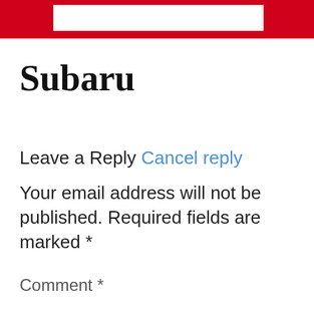Subaru
Leave a Reply Cancel reply
Your email address will not be published. Required fields are marked *
Comment *